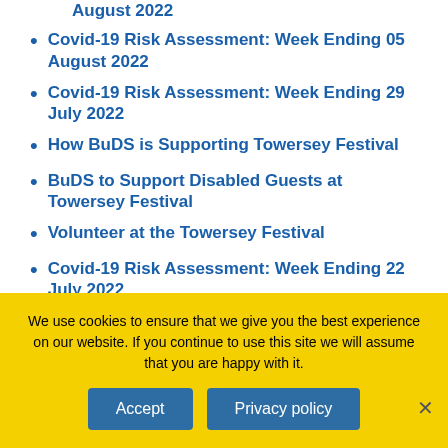August 2022
Covid-19 Risk Assessment: Week Ending 05 August 2022
Covid-19 Risk Assessment: Week Ending 29 July 2022
How BuDS is Supporting Towersey Festival
BuDS to Support Disabled Guests at Towersey Festival
Volunteer at the Towersey Festival
Covid-19 Risk Assessment: Week Ending 22 July 2022
SHOW CATEGORIES
We use cookies to ensure that we give you the best experience on our website. If you continue to use this site we will assume that you are happy with it.
Accept
Privacy policy